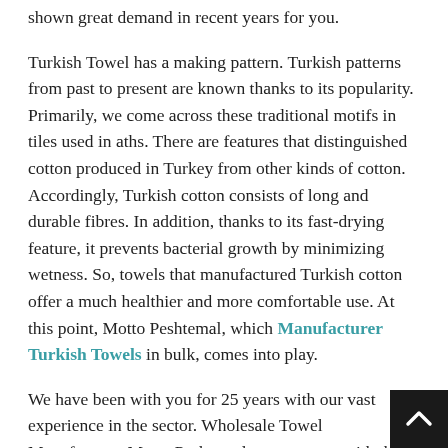shown great demand in recent years for you.
Turkish Towel has a making pattern. Turkish patterns from past to present are known thanks to its popularity. Primarily, we come across these traditional motifs in tiles used in aths. There are features that distinguished cotton produced in Turkey from other kinds of cotton. Accordingly, Turkish cotton consists of long and durable fibres. In addition, thanks to its fast-drying feature, it prevents bacterial growth by minimizing wetness. So, towels that manufactured Turkish cotton offer a much healthier and more comfortable use. At this point, Motto Peshtemal, which Manufacturer Turkish Towels in bulk, comes into play.
We have been with you for 25 years with our vast experience in the sector. Wholesale Towel Manufacturer Motto Peshtemal presents you with the best quality towels tha